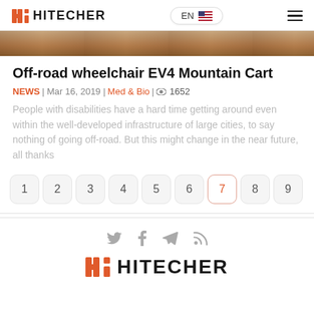HITECHER | EN
[Figure (photo): Cropped top portion of an outdoor photo with warm earthy tones]
Off-road wheelchair EV4 Mountain Cart
NEWS | Mar 16, 2019 | Med & Bio | 1652
People with disabilities have a hard time getting around even within the well-developed infrastructure of large cities, to say nothing of going off-road. But this might change in the near future, all thanks
1 2 3 4 5 6 7 8 9
[Figure (logo): HITECHER footer logo with orange H-i icon]
HITECHER